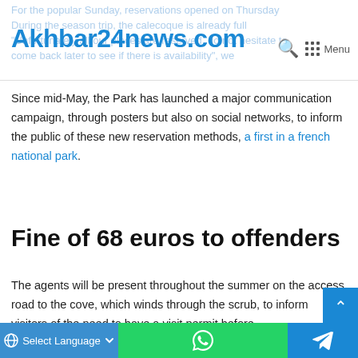Akhbar24news.com
Since mid-May, the Park has launched a major communication campaign, through posters but also on social networks, to inform the public of these new reservation methods, a first in a french national park.
Fine of 68 euros to offenders
The agents will be present throughout the summer on the access road to the cove, which winds through the scrub, to inform visitors of the need to have a visit permit before
Select Language | WhatsApp | Telegram